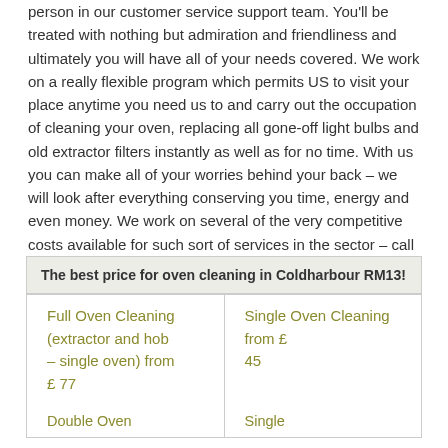person in our customer service support team. You'll be treated with nothing but admiration and friendliness and ultimately you will have all of your needs covered. We work on a really flexible program which permits US to visit your place anytime you need us to and carry out the occupation of cleaning your oven, replacing all gone-off light bulbs and old extractor filters instantly as well as for no time. With us you can make all of your worries behind your back – we will look after everything conserving you time, energy and even money. We work on several of the very competitive costs available for such sort of services in the sector – call us today or request a complimentary estimate through our online contact form and you will manage to see that yourself.
| Full Oven Cleaning (extractor and hob – single oven) from £ 77 | Single Oven Cleaning from £ 45 |
| --- | --- |
| Double Oven... | Single... |